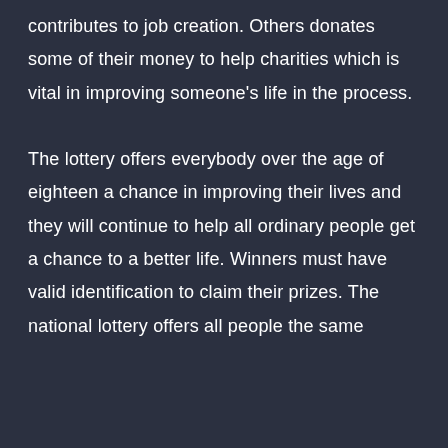contributes to job creation. Others donates some of their money to help charities which is vital in improving someone's life in the process. The lottery offers everybody over the age of eighteen a chance in improving their lives and they will continue to help all ordinary people get a chance to a better life. Winners must have valid identification to claim their prizes. The national lottery offers all people the same